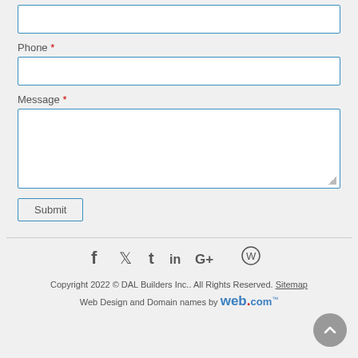[Figure (screenshot): A web contact form showing Phone and Message fields (both required, marked with red asterisk), a Submit button, a horizontal divider, social media icons (Facebook, Twitter, Tumblr, LinkedIn, Google+, WordPress), copyright text 'Copyright 2022 © DAL Builders Inc.. All Rights Reserved. Sitemap', and a 'Web Design and Domain names by web.com' line. A back-to-top button (grey circle with arrow) is at the bottom right.]
Phone *
Message *
Submit
Copyright 2022 © DAL Builders Inc.. All Rights Reserved. Sitemap
Web Design and Domain names by web.com